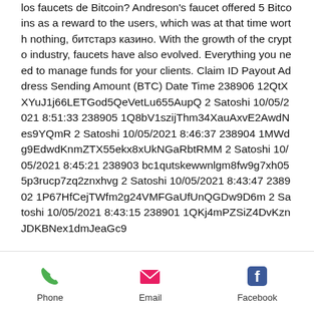los faucets de Bitcoin? Andreson's faucet offered 5 Bitcoins as a reward to the users, which was at that time worth nothing, битстарз казино. With the growth of the crypto industry, faucets have also evolved. Everything you need to manage funds for your clients. Claim ID Payout Address Sending Amount (BTC) Date Time 238906 12QtXXYuJ1j66LETGod5QeVetLu655AupQ 2 Satoshi 10/05/2021 8:51:33 238905 1Q8bV1szijThm34XauAxvE2AwdNes9YQmR 2 Satoshi 10/05/2021 8:46:37 238904 1MWdg9EdwdKnmZTX55ekx8xUkNGaRbtRMM 2 Satoshi 10/05/2021 8:45:21 238903 bc1qutskewwnlgm8fw9g7xh055p3rucp7zq2znxhvg 2 Satoshi 10/05/2021 8:43:47 238902 1P67HfCejTWfm2g24VMFGaUfUnQGDw9D6m 2 Satoshi 10/05/2021 8:43:15 238901 1QKj4mPZSiZ4DvKznJDKBNex1dmJeaGc9
Phone | Email | Facebook